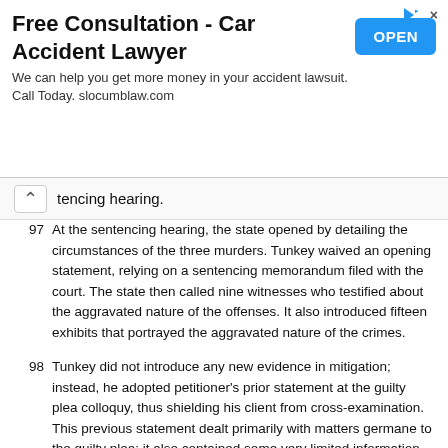[Figure (other): Advertisement banner for Free Consultation - Car Accident Lawyer with OPEN button. Text: 'We can help you get more money in your accident lawsuit. Call Today. slocumblaw.com']
tencing hearing.
97  At the sentencing hearing, the state opened by detailing the circumstances of the three murders. Tunkey waived an opening statement, relying on a sentencing memorandum filed with the court. The state then called nine witnesses who testified about the aggravated nature of the offenses. It also introduced fifteen exhibits that portrayed the aggravated nature of the crimes.
98  Tunkey did not introduce any new evidence in mitigation; instead, he adopted petitioner's prior statement at the guilty plea colloquy, thus shielding his client from cross-examination. This previous statement dealt primarily with matters germane to the guilty plea; it also contained some very limited information petitioner volunteered about his dire economic situation, his remorse, and his emotional state. The circuit judge foreclosed the petitioner's attempt to make a more detailed explanation of his actions at the plea hearing, and stated that the court would consider such information at sentencing.